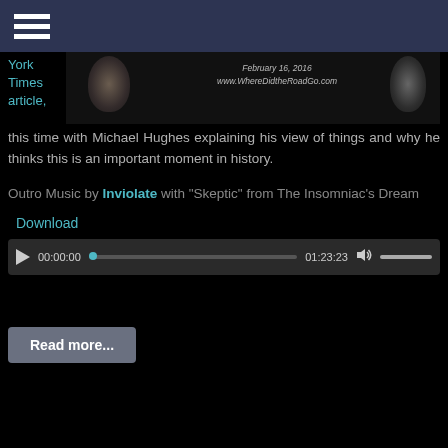[Figure (screenshot): Partial thumbnail of a video or webpage showing text 'February 16, 2016' and 'www.WhereDidtheRoadGo.com' with dark silhouette images on either side]
York Times article, this time with Michael Hughes explaining his view of things and why he thinks this is an important moment in history.
Outro Music by Inviolate with "Skeptic" from The Insomniac's Dream
Download
[Figure (screenshot): Audio player showing play button, time 00:00:00, progress bar, duration 01:23:23, volume icon and volume bar]
Read more...